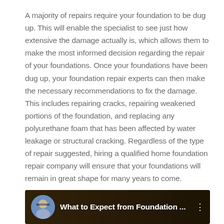A majority of repairs require your foundation to be dug up. This will enable the specialist to see just how extensive the damage actually is, which allows them to make the most informed decision regarding the repair of your foundations. Once your foundations have been dug up, your foundation repair experts can then make the necessary recommendations to fix the damage. This includes repairing cracks, repairing weakened portions of the foundation, and replacing any polyurethane foam that has been affected by water leakage or structural cracking. Regardless of the type of repair suggested, hiring a qualified home foundation repair company will ensure that your foundations will remain in great shape for many years to come.
[Figure (screenshot): Video thumbnail showing a dark interior background with a circular avatar of a person wearing glasses on the left, and white bold text reading 'What to Expect from Foundation ...' with a vertical dots menu icon on the right.]